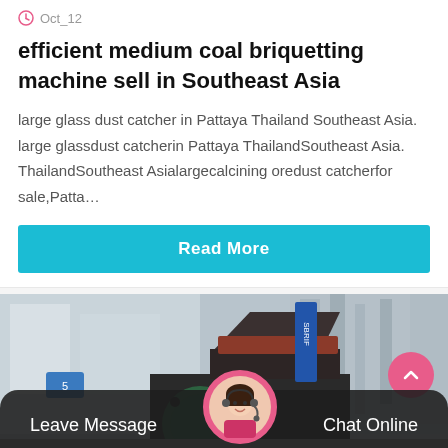Oct_12
efficient medium coal briquetting machine sell in Southeast Asia
large glass dust catcher in Pattaya Thailand Southeast Asia. large glassdust catcherin Pattaya ThailandSoutheast Asia. ThailandSoutheast Asialargecalcining oredust catcherfor sale,Patta…
Read More
[Figure (photo): A coal briquetting machine photographed in an industrial setting, large dark machine with hopper on top, factory building visible in background]
Leave Message
Chat Online